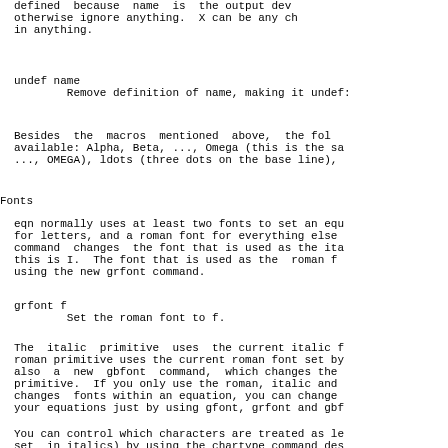defined  because  name  is  the output dev
otherwise ignore anything.  X can be any ch
in anything.
undef name
        Remove definition of name, making it undef:
Besides  the  macros  mentioned  above,  the fol
available: Alpha, Beta, ..., Omega (this is the sa
..., OMEGA), ldots (three dots on the base line),
Fonts
eqn normally uses at least two fonts to set an equ
for letters, and a roman font for everything else
command  changes  the font that is used as the ita
this is I.  The font that is used as the  roman f
using the new grfont command.
grfont f
        Set the roman font to f.
The  italic  primitive  uses  the current italic f
roman primitive uses the current roman font set by
also  a  new  gbfont  command,  which changes the
primitive.  If you only use the roman, italic and
changes  fonts within an equation, you can change
your equations just by using gfont, grfont and gbf
You can control which characters are treated as le
set  in italics) by using the chartype command des